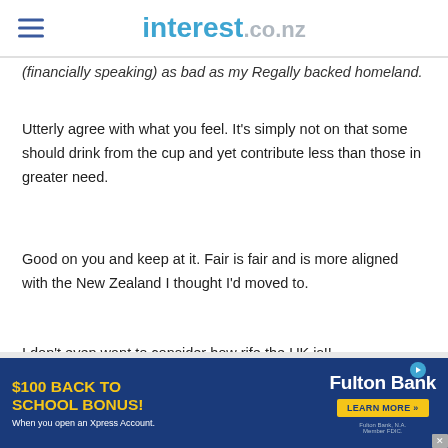interest.co.nz
(financially speaking) as bad as my Regally backed homeland.
Utterly agree with what you feel. It’s simply not on that some should drink from the cup and yet contribute less than those in greater need.
Good on you and keep at it. Fair is fair and is more aligned with the New Zealand I thought I’d moved to.
I don’t even want to consider how rife the UK is!!
[Figure (infographic): Fulton Bank advertisement banner: '$100 BACK TO SCHOOL BONUS! When you open an Xpress Account.' with Fulton Bank logo and LEARN MORE button on blue background.]